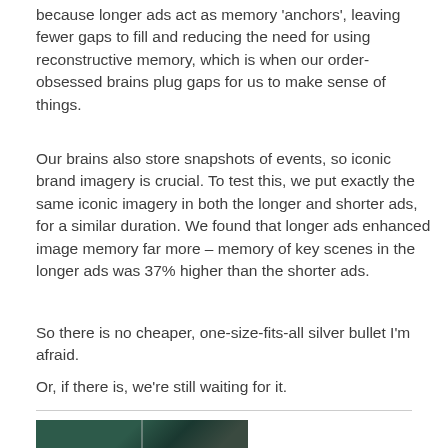because longer ads act as memory 'anchors', leaving fewer gaps to fill and reducing the need for using reconstructive memory, which is when our order-obsessed brains plug gaps for us to make sense of things.
Our brains also store snapshots of events, so iconic brand imagery is crucial. To test this, we put exactly the same iconic imagery in both the longer and shorter ads, for a similar duration. We found that longer ads enhanced image memory far more – memory of key scenes in the longer ads was 37% higher than the shorter ads.
So there is no cheaper, one-size-fits-all silver bullet I'm afraid.
Or, if there is, we're still waiting for it.
[Figure (photo): Partial view of a photograph at the bottom of the page, showing a dark green background scene, partially cropped]